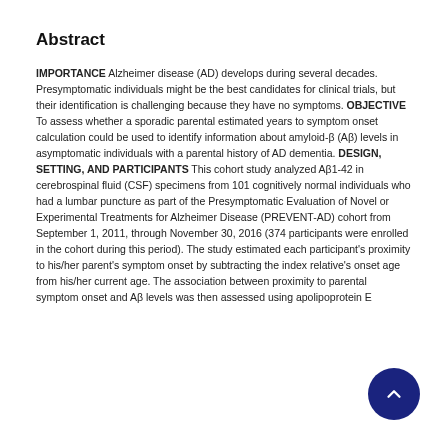Abstract
IMPORTANCE Alzheimer disease (AD) develops during several decades. Presymptomatic individuals might be the best candidates for clinical trials, but their identification is challenging because they have no symptoms. OBJECTIVE To assess whether a sporadic parental estimated years to symptom onset calculation could be used to identify information about amyloid-β (Aβ) levels in asymptomatic individuals with a parental history of AD dementia. DESIGN, SETTING, AND PARTICIPANTS This cohort study analyzed Aβ1-42 in cerebrospinal fluid (CSF) specimens from 101 cognitively normal individuals who had a lumbar puncture as part of the Presymptomatic Evaluation of Novel or Experimental Treatments for Alzheimer Disease (PREVENT-AD) cohort from September 1, 2011, through November 30, 2016 (374 participants were enrolled in the cohort during this period). The study estimated each participant's proximity to his/her parent's symptom onset by subtracting the index relative's onset age from his/her current age. The association between proximity to parental symptom onset and Aβ levels was then assessed using apolipoprotein E